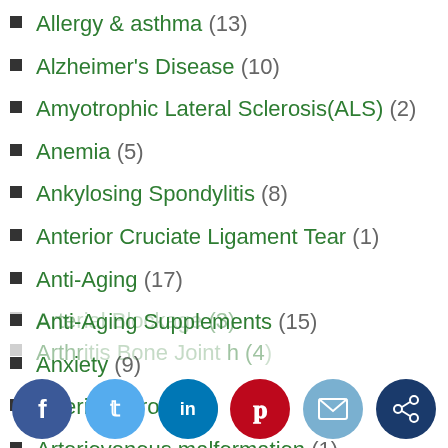Allergy & asthma (13)
Alzheimer's Disease (10)
Amyotrophic Lateral Sclerosis(ALS) (2)
Anemia (5)
Ankylosing Spondylitis (8)
Anterior Cruciate Ligament Tear (1)
Anti-Aging (17)
Anti-Aging Supplements (15)
Anxiety (9)
Arteriosclerosis (1)
Arteriovenous malformation (1)
Arterial Blockage (3)
Arthritis Bone Joint Health (4)